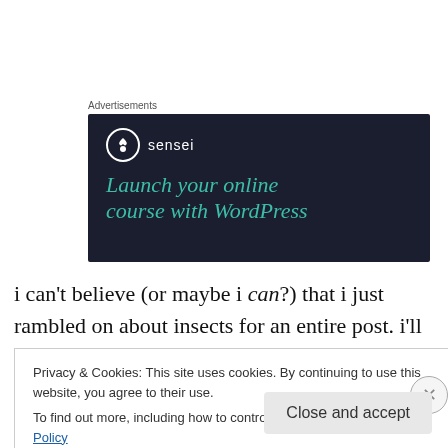Advertisements
[Figure (illustration): Sensei advertisement banner with dark navy background showing the Sensei logo (tree icon in circle) and text: 'Launch your online course with WordPress']
i can't believe (or maybe i can?) that i just rambled on about insects for an entire post. i'll be the first to admit that
Privacy & Cookies: This site uses cookies. By continuing to use this website, you agree to their use.
To find out more, including how to control cookies, see here: Cookie Policy
Close and accept